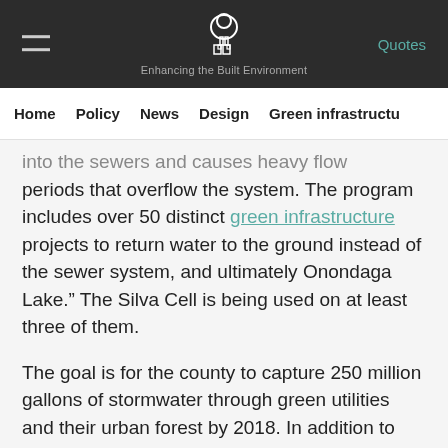Enhancing the Built Environment | Quotes
Home | Policy | News | Design | Green infrastructure
into the sewers and causes heavy flow periods that overflow the system. The program includes over 50 distinct green infrastructure projects to return water to the ground instead of the sewer system, and ultimately Onondaga Lake.” The Silva Cell is being used on at least three of them.
The goal is for the county to capture 250 million gallons of stormwater through green utilities and their urban forest by 2018. In addition to this, they hope to reduce levels of bacteria in Onondaga Lake.